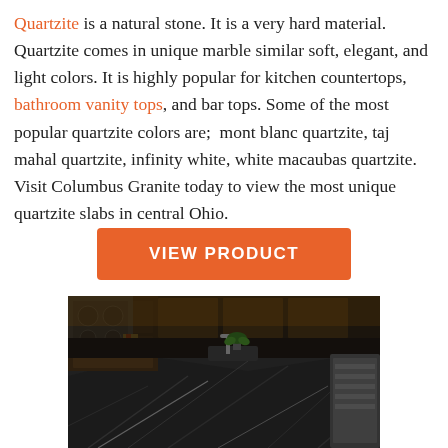Quartzite is a natural stone. It is a very hard material. Quartzite comes in unique marble similar soft, elegant, and light colors. It is highly popular for kitchen countertops, bathroom vanity tops, and bar tops. Some of the most popular quartzite colors are;  mont blanc quartzite, taj mahal quartzite, infinity white, white macaubas quartzite. Visit Columbus Granite today to view the most unique quartzite slabs in central Ohio.
[Figure (other): Orange 'VIEW PRODUCT' button]
[Figure (photo): Kitchen countertop made of dark quartzite stone with veining, showing a kitchen with dark wood cabinets, stainless steel appliances, and a sink with a plant]